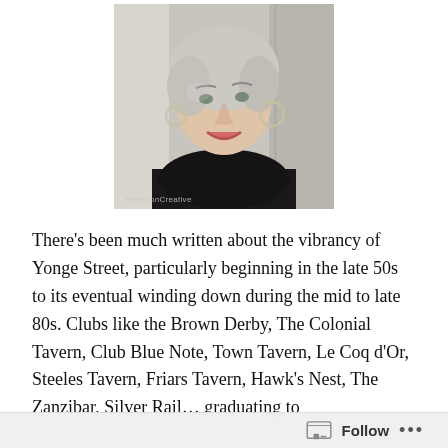[Figure (photo): Black-and-white professional portrait photo of a smiling woman with light curly hair, wearing a black top and choker necklace, with a watermark reading 'JeffersonCreative' at the bottom left.]
There’s been much written about the vibrancy of Yonge Street, particularly beginning in the late 50s to its eventual winding down during the mid to late 80s. Clubs like the Brown Derby, The Colonial Tavern, Club Blue Note, Town Tavern, Le Coq d’Or, Steeles Tavern, Friars Tavern, Hawk’s Nest, The Zanzibar, Silver Rail… graduating to
Follow •••